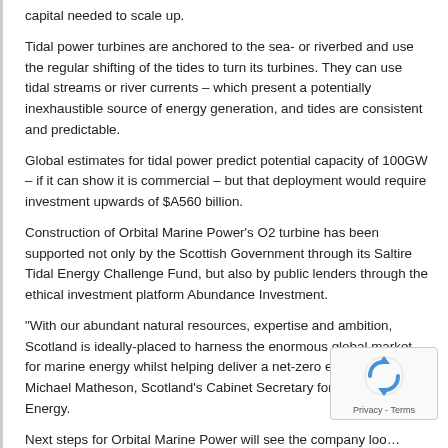capital needed to scale up.
Tidal power turbines are anchored to the sea- or riverbed and use the regular shifting of the tides to turn its turbines. They can use tidal streams or river currents – which present a potentially inexhaustible source of energy generation, and tides are consistent and predictable.
Global estimates for tidal power predict potential capacity of 100GW – if it can show it is commercial – but that deployment would require investment upwards of $A560 billion.
Construction of Orbital Marine Power's O2 turbine has been supported not only by the Scottish Government through its Saltire Tidal Energy Challenge Fund, but also by public lenders through the ethical investment platform Abundance Investment.
“With our abundant natural resources, expertise and ambition, Scotland is ideally-placed to harness the enormous global market for marine energy whilst helping deliver a net-zero economy,” said Michael Matheson, Scotland’s Cabinet Secretary for Net Zero and Energy.
Next steps for Orbital Marine Power will see the companyloo… commercialising their technology through the deployment of m… megawatt tidal stream arrays.
[Figure (other): reCAPTCHA Privacy - Terms overlay in bottom right corner]